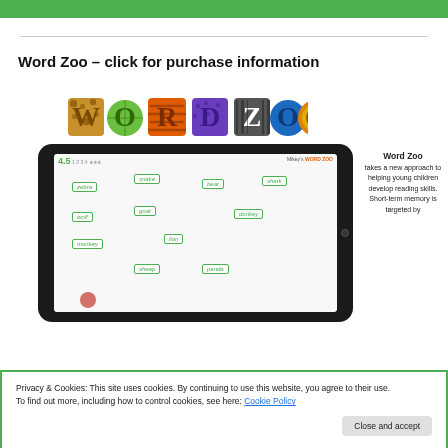Word Zoo – click for purchase information
[Figure (screenshot): Word Zoo app screenshot showing tablet with animal words scattered on screen and colorful logo above]
Word Zoo takes a new approach to helping young children develop reading skills. Short-term memory is targeted by
Privacy & Cookies: This site uses cookies. By continuing to use this website, you agree to their use.
To find out more, including how to control cookies, see here: Cookie Policy
Close and accept